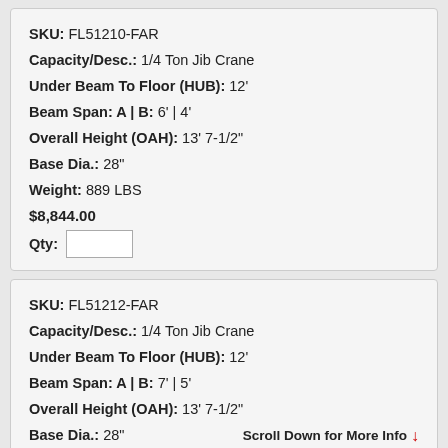SKU: FL51210-FAR
Capacity/Desc.: 1/4 Ton Jib Crane
Under Beam To Floor (HUB): 12'
Beam Span: A | B: 6' | 4'
Overall Height (OAH): 13' 7-1/2"
Base Dia.: 28"
Weight: 889 LBS
$8,844.00
Qty:
SKU: FL51212-FAR
Capacity/Desc.: 1/4 Ton Jib Crane
Under Beam To Floor (HUB): 12'
Beam Span: A | B: 7' | 5'
Overall Height (OAH): 13' 7-1/2"
Base Dia.: 28"
Scroll Down for More Info ↓